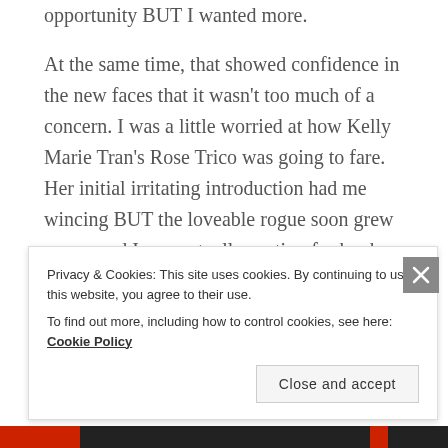opportunity BUT I wanted more.
At the same time, that showed confidence in the new faces that it wasn't too much of a concern. I was a little worried at how Kelly Marie Tran's Rose Trico was going to fare. Her initial irritating introduction had me wincing BUT the loveable rogue soon grew on me and I was actually rooting for her by the closing act.
She worked well with Boyega and allowed an increasingly absent Finn back into the fold.
I have to say I enjoyed TLJ a lot more than FA (Force
Privacy & Cookies: This site uses cookies. By continuing to use this website, you agree to their use.
To find out more, including how to control cookies, see here: Cookie Policy